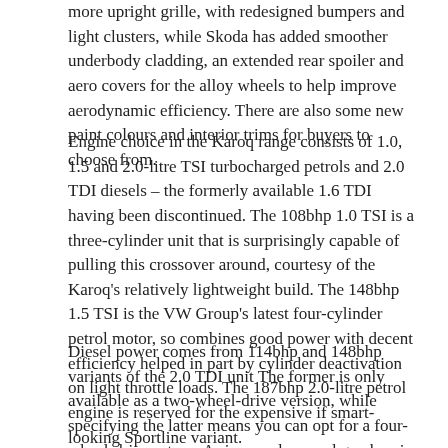more upright grille, with redesigned bumpers and light clusters, while Skoda has added smoother underbody cladding, an extended rear spoiler and aero covers for the alloy wheels to help improve aerodynamic efficiency. There are also some new paint colours and interior trims for buyers to choose from.
Engine choice in the Karoq range consists of 1.0, 1.5 and 2.0-litre TSI turbocharged petrols and 2.0 TDI diesels – the formerly available 1.6 TDI having been discontinued. The 108bhp 1.0 TSI is a three-cylinder unit that is surprisingly capable of pulling this crossover around, courtesy of the Karoq's relatively lightweight build. The 148bhp 1.5 TSI is the VW Group's latest four-cylinder petrol motor, so combines good power with decent efficiency helped in part by cylinder deactivation on light throttle loads. The 187bhp 2.0-litre petrol engine is reserved for the expensive if smart-looking Sportline variant.
Diesel power comes from 114bhp and 148bhp variants of the 2.0 TDI unit The former is only available as a two-wheel-drive version, while specifying the latter means you can opt for a four-wheel-drive set-up. A six-speed manual gearbox is standard in most cases, while the seven-speed twin-clutch DSG auto is offered as an option.